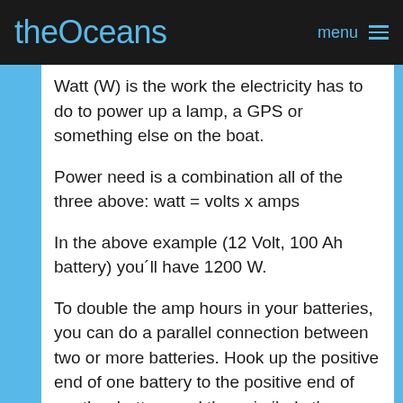theOceans  menu
Watt (W) is the work the electricity has to do to power up a lamp, a GPS or something else on the boat.
Power need is a combination all of the three above: watt = volts x amps
In the above example (12 Volt, 100 Ah battery) you´ll have 1200 W.
To double the amp hours in your batteries, you can do a parallel connection between two or more batteries. Hook up the positive end of one battery to the positive end of another battery and then similarly the negative with the negative. If each